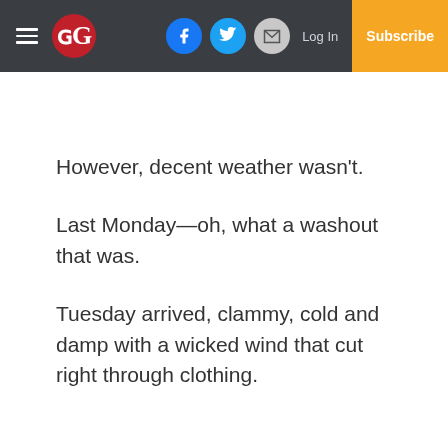Newspaper navigation bar with hamburger menu, G logo, Facebook, Twitter, email icons, Log In, Subscribe
However, decent weather wasn't.
Last Monday—oh, what a washout that was.
Tuesday arrived, clammy, cold and damp with a wicked wind that cut right through clothing.